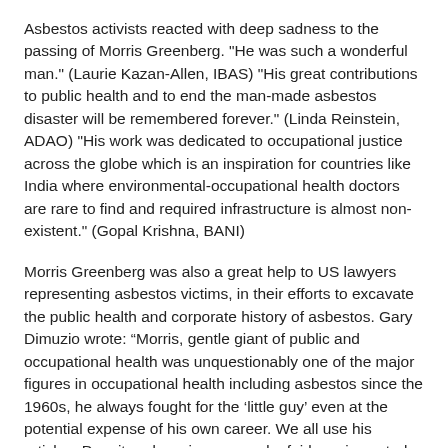Asbestos activists reacted with deep sadness to the passing of Morris Greenberg.  "He was such a wonderful man." (Laurie Kazan-Allen, IBAS)  "His great contributions to public health and to end the man-made asbestos disaster will be remembered forever."  (Linda Reinstein, ADAO)  "His work was dedicated to occupational justice across the globe which is an inspiration for countries like India where environmental-occupational health doctors are rare to find and required infrastructure is almost non-existent."  (Gopal Krishna, BANI)
Morris Greenberg was also a great help to US lawyers representing asbestos victims, in their efforts to excavate the public health and corporate history of asbestos.  Gary Dimuzio wrote: “Morris, gentle giant of public and occupational health was unquestionably one of the major figures in occupational health including asbestos since the 1960s, he always fought for the ‘little guy’ even at the potential expense of his own career.  We all use his articles.  Despite advancing age and a fairly serious stroke several years ago, Morris was always willing to provide insights or help find an article or document that only he could find, as recently as just a few weeks ago.  He will be missed."